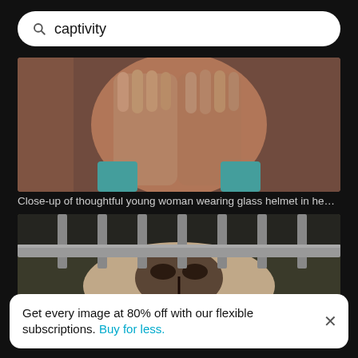captivity
[Figure (photo): Close-up of a thoughtful young woman with hands covering her face, wearing a glass helmet or hands over head]
Close-up of thoughtful young woman wearing glass helmet in head …
[Figure (photo): Close-up of an animal's nose pressed against metal cage bars]
Get every image at 80% off with our flexible subscriptions. Buy for less.